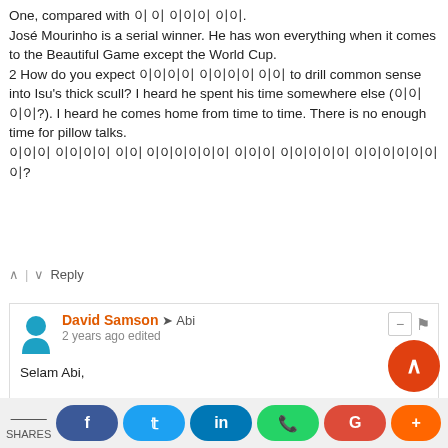One, compared with 이 이 이이이 이이.
José Mourinho is a serial winner. He has won everything when it comes to the Beautiful Game except the World Cup.
2 How do you expect 이이이이 이이이이 이이 to drill common sense into Isu's thick scull? I heard he spent his time somewhere else (이이 이이?). I heard he comes home from time to time. There is no enough time for pillow talks.
이이이 이이이이 이이 이이이이이이 이이이 이이이이이 이이이이이이이?
Reply
David Samson → Abi
2 years ago edited
Selam Abi,
You failed to mention to SJG that Jose is now in Tottenham Hotspurs. He also failed to mention the special one was sacked by your beloved team. I can forgive SJG for slowness, but not to an avid footie of yours truly.
Reply
Saleh Johar → David Samson